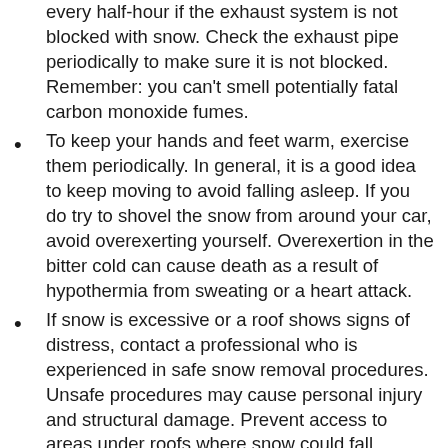every half-hour if the exhaust system is not blocked with snow. Check the exhaust pipe periodically to make sure it is not blocked. Remember: you can't smell potentially fatal carbon monoxide fumes.
To keep your hands and feet warm, exercise them periodically. In general, it is a good idea to keep moving to avoid falling asleep. If you do try to shovel the snow from around your car, avoid overexerting yourself. Overexertion in the bitter cold can cause death as a result of hypothermia from sweating or a heart attack.
If snow is excessive or a roof shows signs of distress, contact a professional who is experienced in safe snow removal procedures. Unsafe procedures may cause personal injury and structural damage. Prevent access to areas under roofs where snow could fall.
If you live on a farm, shelter animals. Generally, if the structure is sound, animals should be placed indoors. Once they are inside, secure all openings to the